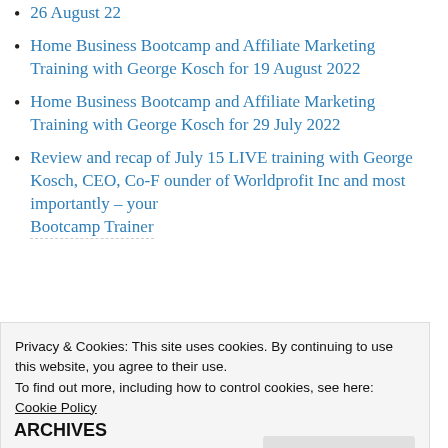26 August 22
Home Business Bootcamp and Affiliate Marketing Training with George Kosch for 19 August 2022
Home Business Bootcamp and Affiliate Marketing Training with George Kosch for 29 July 2022
Review and recap of July 15 LIVE training with George Kosch, CEO, Co-Founder of Worldprofit Inc and most importantly – your Bootcamp Trainer
Privacy & Cookies: This site uses cookies. By continuing to use this website, you agree to their use.
To find out more, including how to control cookies, see here: Cookie Policy
ARCHIVES